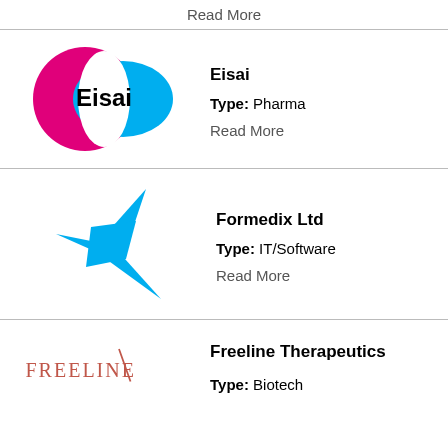Read More
[Figure (logo): Eisai company logo — pink magenta left oval and blue right oval overlapping, with 'Eisai' text in bold black in the center]
Eisai
Type: Pharma
Read More
[Figure (logo): Formedix Ltd logo — blue stylized star/cross shape made of angular arrows pointing outward]
Formedix Ltd
Type: IT/Software
Read More
[Figure (logo): Freeline Therapeutics logo — uppercase thin serif letters 'FREELINE' in muted red/coral color]
Freeline Therapeutics
Type: Biotech